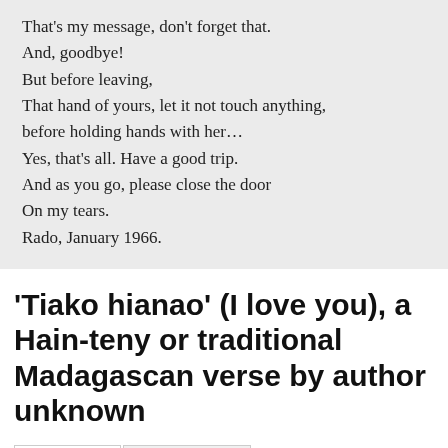That's my message, don't forget that.
And, goodbye!
But before leaving,
That hand of yours, let it not touch anything,
before holding hands with her…
Yes, that's all. Have a good trip.
And as you go, please close the door
On my tears.
Rado, January 1966.
'Tiako hianao' (I love you), a Hain-teny or traditional Madagascan verse by author unknown
Translation | Original Quote
I love you.